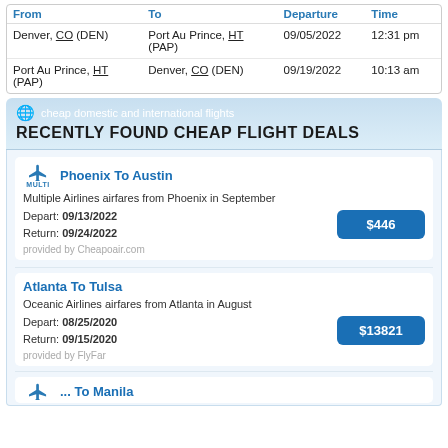| From | To | Departure | Time |
| --- | --- | --- | --- |
| Denver, CO (DEN) | Port Au Prince, HT (PAP) | 09/05/2022 | 12:31 pm |
| Port Au Prince, HT (PAP) | Denver, CO (DEN) | 09/19/2022 | 10:13 am |
cheap domestic and international flights
RECENTLY FOUND CHEAP FLIGHT DEALS
Phoenix To Austin
Multiple Airlines airfares from Phoenix in September
Depart: 09/13/2022
Return: 09/24/2022
$446
provided by Cheapoair.com
Atlanta To Tulsa
Oceanic Airlines airfares from Atlanta in August
Depart: 08/25/2020
Return: 09/15/2020
$13821
provided by FlyFar